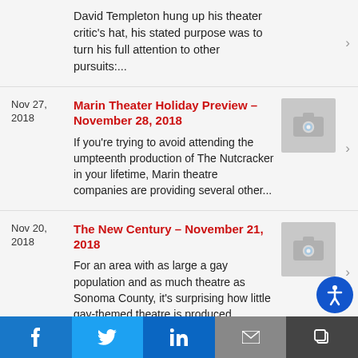David Templeton hung up his theater critic's hat, his stated purpose was to turn his full attention to other pursuits:...
Nov 27, 2018
Marin Theater Holiday Preview – November 28, 2018
If you're trying to avoid attending the umpteenth production of The Nutcracker in your lifetime, Marin theatre companies are providing several other...
[Figure (photo): Placeholder camera icon image thumbnail]
Nov 20, 2018
The New Century – November 21, 2018
For an area with as large a gay population and as much theatre as Sonoma County, it's surprising how little gay-themed theatre is produced
[Figure (photo): Placeholder camera icon image thumbnail]
f  t  in  [mail]  [copy]